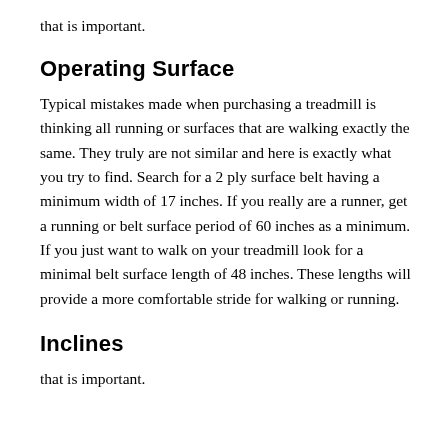that is important.
Operating Surface
Typical mistakes made when purchasing a treadmill is thinking all running or surfaces that are walking exactly the same. They truly are not similar and here is exactly what you try to find. Search for a 2 ply surface belt having a minimum width of 17 inches. If you really are a runner, get a running or belt surface period of 60 inches as a minimum. If you just want to walk on your treadmill look for a minimal belt surface length of 48 inches. These lengths will provide a more comfortable stride for walking or running.
Inclines
that is important.